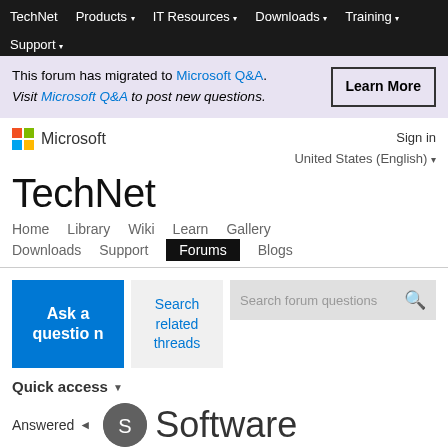TechNet  Products  IT Resources  Downloads  Training  Support
This forum has migrated to Microsoft Q&A. Visit Microsoft Q&A to post new questions. Learn More
[Figure (logo): Microsoft logo with four colored squares and Microsoft text]
Sign in
United States (English)
TechNet
Home  Library  Wiki  Learn  Gallery  Downloads  Support  Forums  Blogs
Ask a question
Search related threads
Search forum questions
Quick access
Answered
Software